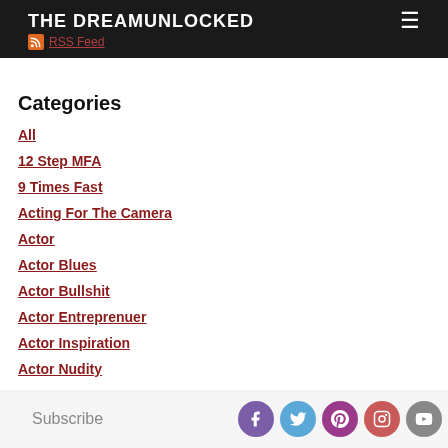THE DREAMUNLOCKED | RSS Feed
Categories
All
12 Step MFA
9 Times Fast
Acting For The Camera
Actor
Actor Blues
Actor Bullshit
Actor Entreprenuer
Actor Inspiration
Actor Nudity
Actor Prep
Actor Problems
Actorsarsenal
Subscribe